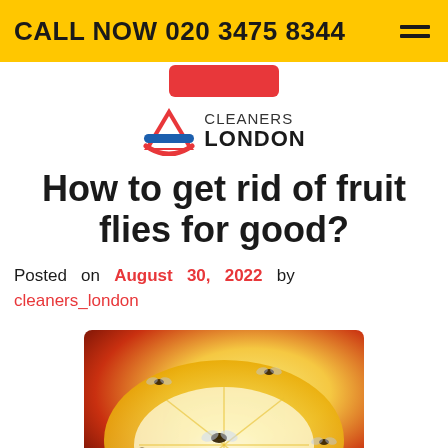CALL NOW 020 3475 8344
[Figure (logo): Cleaners London logo with London Underground-style icon (red triangle, blue bar, red arc) and text CLEANERS LONDON]
How to get rid of fruit flies for good?
Posted on August 30, 2022 by cleaners_london
[Figure (photo): Close-up photo of fruit flies on a yellow citrus fruit surface with orange/red background]